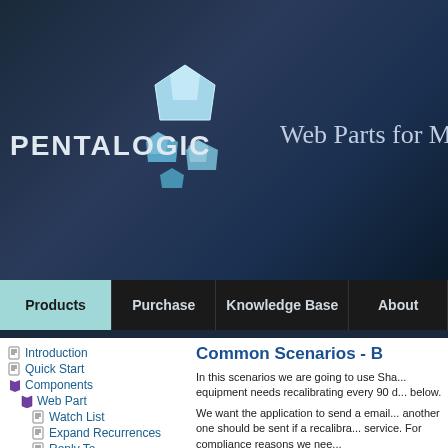[Figure (screenshot): Pentalogic website header with dark blue gradient background, pentagon gem logo, company name PENTALOGIC, and tagline Web Parts for Mi...]
PENTALOGIC | Web Parts for Mi...
Introduction
Quick Start
Components
Web Part
Watch List
Expand Recurrences
Reply To
Email To/Cc/Bcc
Subject and Message
Common Scenarios - B...
In this scenarios we are going to use Sha... equipment needs recalibrating every 90 d... below.
We want the application to send a email... another one should be sent if a recalibra... service. For compliance reasons we nee...
In many ways this is similar to the Tasks...